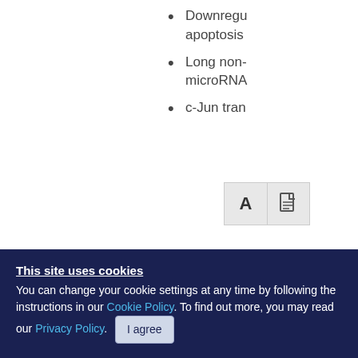Downregulation of apoptosis
Long non-coding microRNA
c-Jun transcription
[Figure (other): Two icon buttons: 'A' (text/font icon) and a document/file icon, shown as UI controls on a webpage]
This site uses cookies
You can change your cookie settings at any time by following the instructions in our Cookie Policy. To find out more, you may read our Privacy Policy. I agree